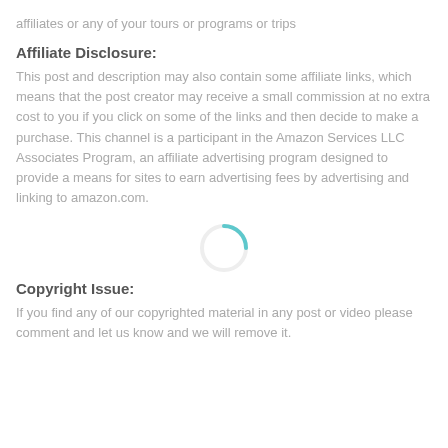affiliates or any of your tours or programs or trips
Affiliate Disclosure:
This post and description may also contain some affiliate links, which means that the post creator may receive a small commission at no extra cost to you if you click on some of the links and then decide to make a purchase. This channel is a participant in the Amazon Services LLC Associates Program, an affiliate advertising program designed to provide a means for sites to earn advertising fees by advertising and linking to amazon.com.
Copyright Issue:
If you find any of our copyrighted material in any post or video please comment and let us know and we will remove it.